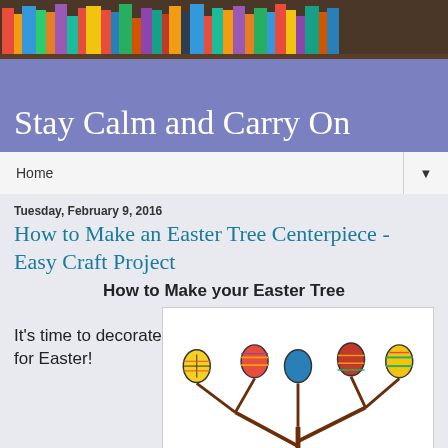Stay Calm and Carry On
Home
Tuesday, February 9, 2016
How to Make an Easter Tree Centerpiece - Easy Craft Project
How to Make your Easter Tree
It's time to decorate for Easter!
[Figure (illustration): Colorful Easter eggs decorated with patterns hanging on tree branches]